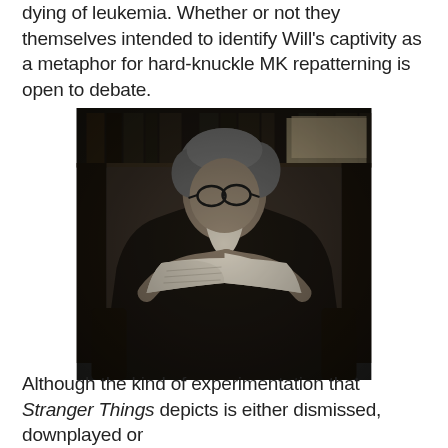dying of leukemia. Whether or not they themselves intended to identify Will's captivity as a metaphor for hard-knuckle MK repatterning is open to debate.
[Figure (photo): Black and white photograph of an elderly person with curly grey hair and glasses, seated and reading a book or document, with bookshelves visible in the background.]
Although the kind of experimentation that Stranger Things depicts is either dismissed, downplayed or